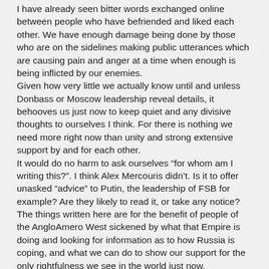I have already seen bitter words exchanged online between people who have befriended and liked each other. We have enough damage being done by those who are on the sidelines making public utterances which are causing pain and anger at a time when enough is being inflicted by our enemies. Given how very little we actually know until and unless Donbass or Moscow leadership reveal details, it behooves us just now to keep quiet and any divisive thoughts to ourselves I think. For there is nothing we need more right now than unity and strong extensive support by and for each other. It would do no harm to ask ourselves “for whom am I writing this?”. I think Alex Mercouris didn’t. Is it to offer unasked “advice” to Putin, the leadership of FSB for example? Are they likely to read it, or take any notice? The things written here are for the benefit of people of the AngloAmero West sickened by what that Empire is doing and looking for information as to how Russia is coping, and what we can do to show our support for the only rightfulness we see in the world just now. And by sowing such dissatisfaction, disbelief and doubt in minds of Western people, all we do is make them ripe for the trolls and anti-Russia brigade. We need to foment postivity, unity, resolve, and hope and belief in